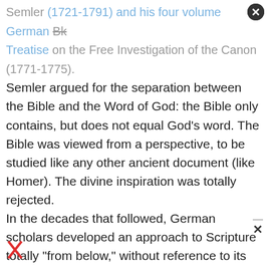Semler (1721-1791) and his four volume German Book Treatise on the Free Investigation of the Canon (1771-1775). Semler argued for the separation between the Bible and the Word of God: the Bible only contains, but does not equal God's word. The Bible was viewed from a perspective, to be studied like any other ancient document (like Homer). The divine inspiration was totally rejected. In the decades that followed, German scholars developed an approach to Scripture totally "from below," without reference to its divine element. This approach steadily gained ground throughout the 18th and 19th centuries, and became known as higher criticism or the historical-critical method. The goal of this method was to verify the truthfulness and understanding the meaning of the biblical data using the principles and procedures of secular historical science.